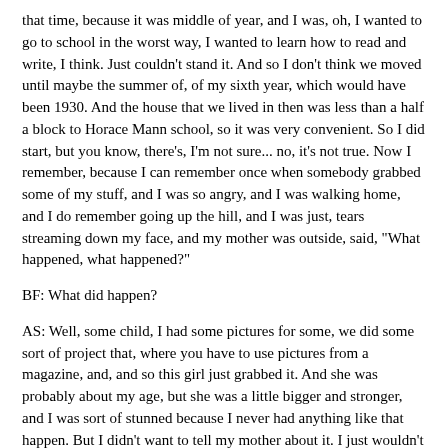that time, because it was middle of year, and I was, oh, I wanted to go to school in the worst way, I wanted to learn how to read and write, I think. Just couldn't stand it. And so I don't think we moved until maybe the summer of, of my sixth year, which would have been 1930. And the house that we lived in then was less than a half a block to Horace Mann school, so it was very convenient. So I did start, but you know, there's, I'm not sure... no, it's not true. Now I remember, because I can remember once when somebody grabbed some of my stuff, and I was so angry, and I was walking home, and I do remember going up the hill, and I was just, tears streaming down my face, and my mother was outside, said, "What happened, what happened?"
BF: What did happen?
AS: Well, some child, I had some pictures for some, we did some sort of project that, where you have to use pictures from a magazine, and, and so this girl just grabbed it. And she was probably about my age, but she was a little bigger and stronger, and I was sort of stunned because I never had anything like that happen. But I didn't want to tell my mother about it. I just wouldn't talk. [Laughs] Anyway, yeah, so I remember that, so I must have started school, and I imagine the semester usually starts, I think, in February, I think. I should know, I'm tutoring at a school in Seattle. But probably, well, my birthday was January 23rd, so I'm sure it